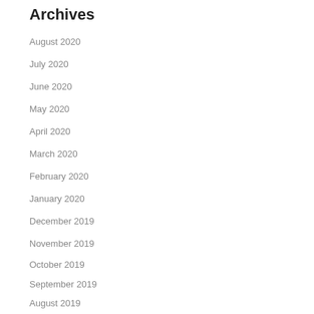Archives
August 2020
July 2020
June 2020
May 2020
April 2020
March 2020
February 2020
January 2020
December 2019
November 2019
October 2019
September 2019
August 2019
July 2019